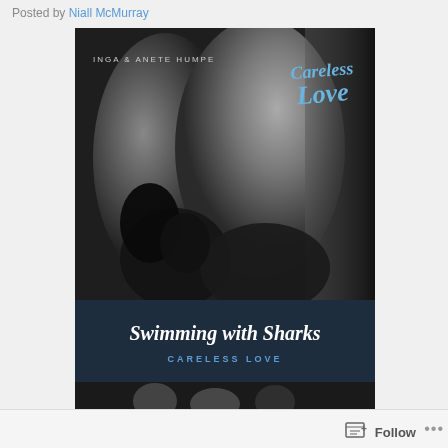Posted by Niall McMurray
[Figure (photo): Album cover for 'Careless Love' by Inga & Anete Humpe. Black and white photo of two women. Top portion shows the photo with artist name 'INGA & ANETE HUMPE' and cursive 'Careless Love' logo in blue. Bottom dark blue bar reads 'Swimming with Sharks' in italic white and 'CARELESS LOVE' in blue caps. Bottom strip shows additional figures.]
Follow ...